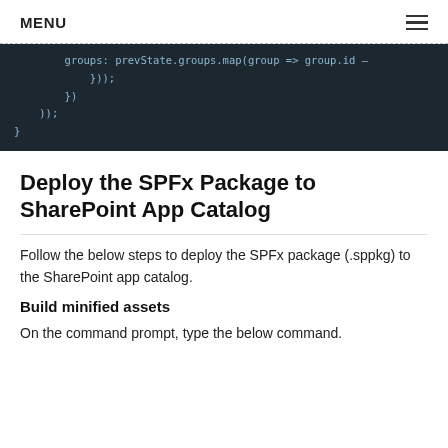MENU
[Figure (screenshot): Dark code editor block showing JavaScript code snippet with closing braces: groups: prevState.groups.map(group => group.id ... })); }) )); }]
Deploy the SPFx Package to SharePoint App Catalog
Follow the below steps to deploy the SPFx package (.sppkg) to the SharePoint app catalog.
Build minified assets
On the command prompt, type the below command.